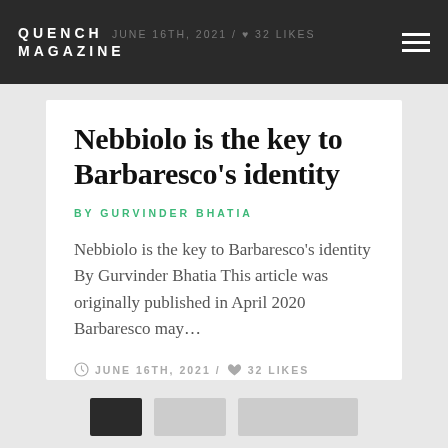QUENCH MAGAZINE
JUNE 16TH, 2021 / ♥ 32 LIKES
Nebbiolo is the key to Barbaresco's identity
BY GURVINDER BHATIA
Nebbiolo is the key to Barbaresco's identity By Gurvinder Bhatia This article was originally published in April 2020 Barbaresco may…
JUNE 16TH, 2021 / ♥ 32 LIKES